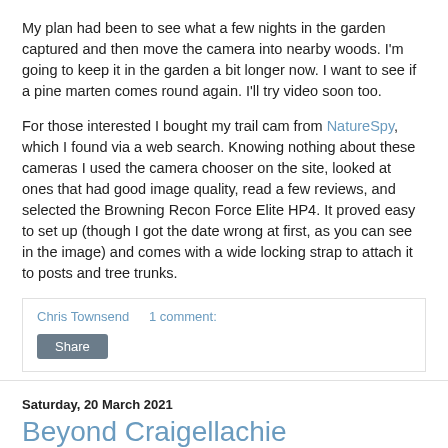My plan had been to see what a few nights in the garden captured and then move the camera into nearby woods. I'm going to keep it in the garden a bit longer now. I want to see if a pine marten comes round again. I'll try video soon too.
For those interested I bought my trail cam from NatureSpy, which I found via a web search. Knowing nothing about these cameras I used the camera chooser on the site, looked at ones that had good image quality, read a few reviews, and selected the Browning Recon Force Elite HP4. It proved easy to set up (though I got the date wrong at first, as you can see in the image) and comes with a wide locking strap to attach it to posts and tree trunks.
Chris Townsend    1 comment:
Share
Saturday, 20 March 2021
Beyond Craigellachie